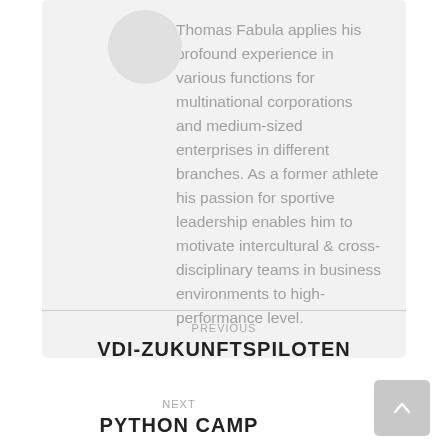[Figure (illustration): Circular avatar placeholder graphic]
Thomas Fabula applies his profound experience in various functions for multinational corporations and medium-sized enterprises in different branches. As a former athlete his passion for sportive leadership enables him to motivate intercultural & cross-disciplinary teams in business environments to high-performance level.
PREVIOUS
VDI-ZUKUNFTSPILOTEN
NEXT
PYTHON CAMP